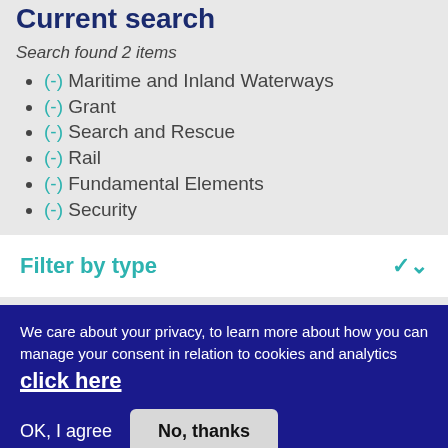Current search
Search found 2 items
(-) Maritime and Inland Waterways
(-) Grant
(-) Search and Rescue
(-) Rail
(-) Fundamental Elements
(-) Security
Filter by type
We care about your privacy, to learn more about how you can manage your consent in relation to cookies and analytics click here
OK, I agree   No, thanks